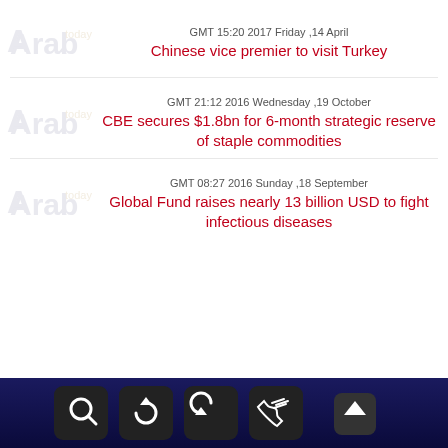GMT 15:20 2017 Friday ,14 April
Chinese vice premier to visit Turkey
GMT 21:12 2016 Wednesday ,19 October
CBE secures $1.8bn for 6-month strategic reserve of staple commodities
GMT 08:27 2016 Sunday ,18 September
Global Fund raises nearly 13 billion USD to fight infectious diseases
[Figure (other): Navigation toolbar with search, refresh, back, and phone icons on dark navy background]